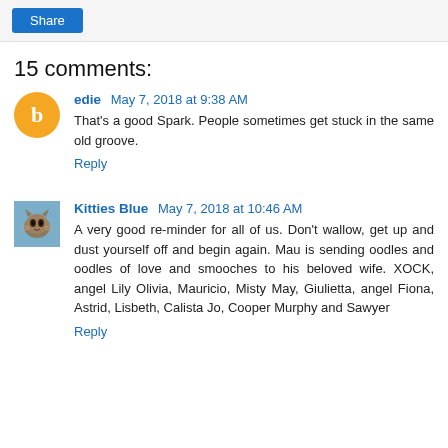Share
15 comments:
edie May 7, 2018 at 9:38 AM
That's a good Spark. People sometimes get stuck in the same old groove.
Reply
Kitties Blue May 7, 2018 at 10:46 AM
A very good re-minder for all of us. Don't wallow, get up and dust yourself off and begin again. Mau is sending oodles and oodles of love and smooches to his beloved wife. XOCK, angel Lily Olivia, Mauricio, Misty May, Giulietta, angel Fiona, Astrid, Lisbeth, Calista Jo, Cooper Murphy and Sawyer
Reply